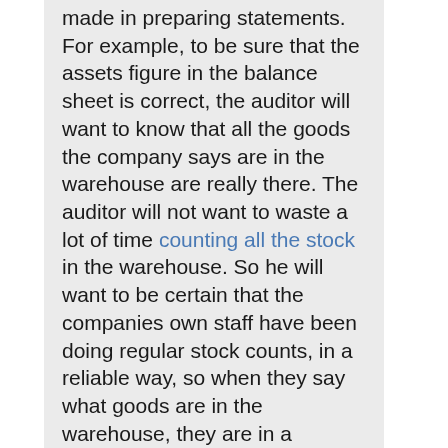made in preparing statements. For example, to be sure that the assets figure in the balance sheet is correct, the auditor will want to know that all the goods the company says are in the warehouse are really there. The auditor will not want to waste a lot of time counting all the stock in the warehouse. So he will want to be certain that the companies own staff have been doing regular stock counts, in a reliable way, so when they say what goods are in the warehouse, they are in a position to know. The auditor will also want to know that there are good physical barriers to protect goods from theft, so he may check to make sure